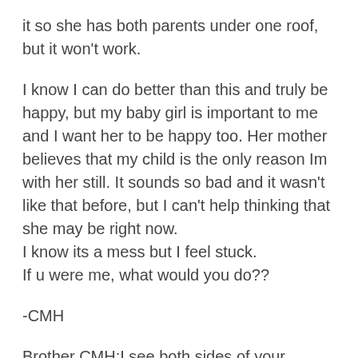it so she has both parents under one roof, but it won't work.
I know I can do better than this and truly be happy, but my baby girl is important to me and I want her to be happy too. Her mother believes that my child is the only reason Im with her still. It sounds so bad and it wasn't like that before, but I can't help thinking that she may be right now.
I know its a mess but I feel stuck.
If u were me, what would you do??
-CMH
Brother CMH:I see both sides of your situation. I see a brother who has given his all when he could and is looking for some kindness and understanding when he can't give as much.  I also see a woman who has stuck